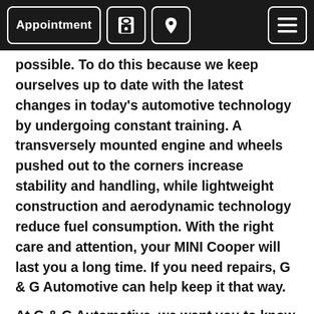Appointment [phone icon] [location icon] [menu icon]
possible. To do this because we keep ourselves up to date with the latest changes in today's automotive technology by undergoing constant training. A transversely mounted engine and wheels pushed out to the corners increase stability and handling, while lightweight construction and aerodynamic technology reduce fuel consumption. With the right care and attention, your MINI Cooper will last you a long time. If you need repairs, G & G Automotive can help keep it that way.
At G & G Automotive, we want you to know you can count on us to keep your MINI safe and reliable. Our goal is to take care of all your automotive needs, and to make your experience with us as pleasurable and convenient as possible. We are also dedicated to helping you understand auto repair, and how important it is to service your MINI regularly. It will save you money and